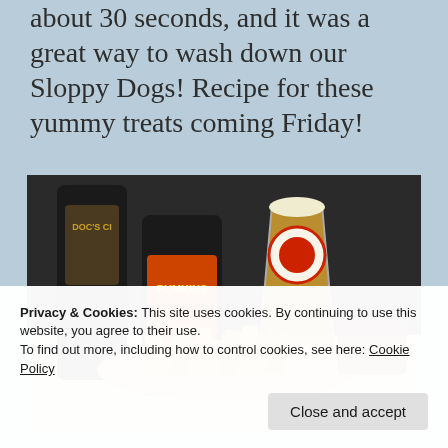about 30 seconds, and it was a great way to wash down our Sloppy Dogs! Recipe for these yummy treats coming Friday!
[Figure (photo): Photo of two beer bottles (Doc's Cl... and a Pumkins labeled bottle), a pint glass of beer with a red logo, and a plate of french fries on a table.]
Privacy & Cookies: This site uses cookies. By continuing to use this website, you agree to their use.
To find out more, including how to control cookies, see here: Cookie Policy